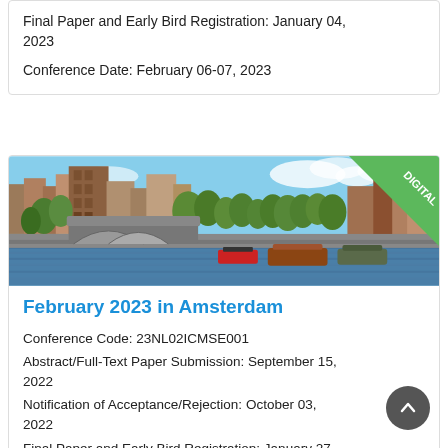Final Paper and Early Bird Registration: January 04, 2023
Conference Date: February 06-07, 2023
[Figure (photo): Panoramic photo of Amsterdam canal with historic brick buildings, arched bridge, moored boats, and green trees. A green diagonal banner in the top-right corner reads 'DIGITAL'.]
February 2023 in Amsterdam
Conference Code: 23NL02ICMSE001
Abstract/Full-Text Paper Submission: September 15, 2022
Notification of Acceptance/Rejection: October 03, 2022
Final Paper and Early Bird Registration: January 27,